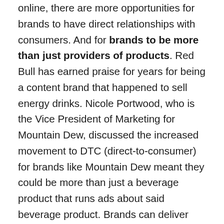online, there are more opportunities for brands to have direct relationships with consumers. And for brands to be more than just providers of products. Red Bull has earned praise for years for being a content brand that happened to sell energy drinks. Nicole Portwood, who is the Vice President of Marketing for Mountain Dew, discussed the increased movement to DTC (direct-to-consumer) for brands like Mountain Dew meant they could be more than just a beverage product that runs ads about said beverage product. Brands can deliver more and pull customers to them through content. The best content and distribution can win and there's nothing stopping brands, like Mountain Dew, from attracting individuals to them through content in the level playing field of digital and social media. There is no competition for shelf space in digital, it's a different kind of competition.